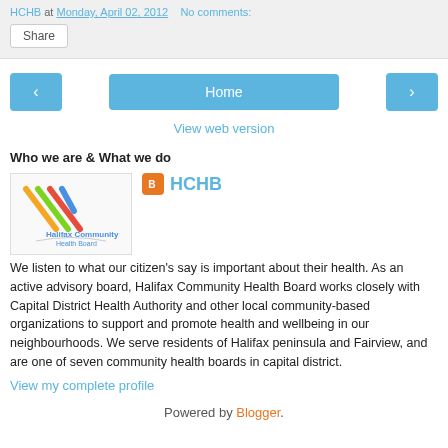HCHB at Monday, April 02, 2012   No comments:
Share
[Figure (screenshot): Navigation buttons: back arrow, Home button, forward arrow]
View web version
Who we are & What we do
[Figure (logo): Halifax Community Health Board logo with diagonal colored stripes]
HCHB
We listen to what our citizen's say is important about their health. As an active advisory board, Halifax Community Health Board works closely with Capital District Health Authority and other local community-based organizations to support and promote health and wellbeing in our neighbourhoods. We serve residents of Halifax peninsula and Fairview, and are one of seven community health boards in capital district.
View my complete profile
Powered by Blogger.